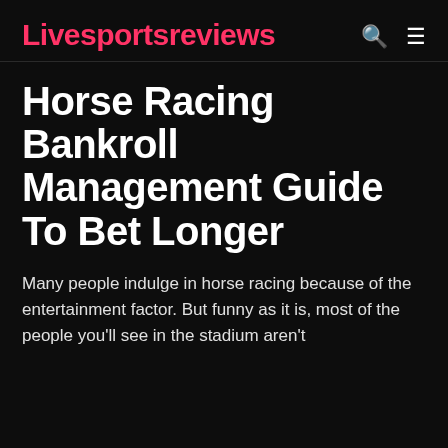Livesportsreviews
Horse Racing Bankroll Management Guide To Bet Longer
Many people indulge in horse racing because of the entertainment factor. But funny as it is, most of the people you'll see in the stadium aren't